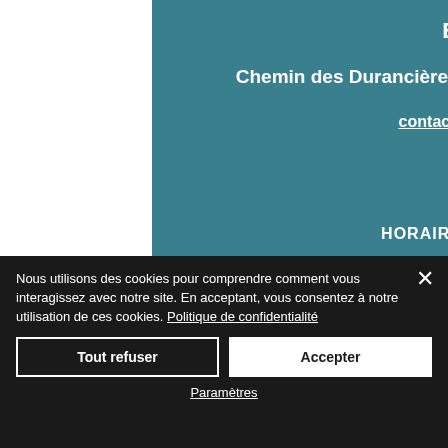Bénédicte LAVAUD
Chemin des Durancières (Route de la Noue) - 17630  La Flotte en Ré
contact@ecuries-moulin-moreau.com
05 46 09 32 34
+33 5 46 09 32 34
HORAIRES D'OUVERTURE / OPENING
Nous utilisons des cookies pour comprendre comment vous interagissez avec notre site. En acceptant, vous consentez à notre utilisation de ces cookies. Politique de confidentialité
Tout refuser
Accepter
Paramètres